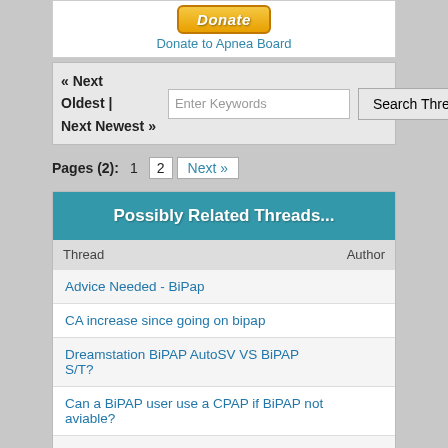[Figure (other): PayPal Donate button]
Donate to Apnea Board
« Next Oldest | Next Newest »
Enter Keywords
Search Thread
Pages (2): 1 2 Next »
Possibly Related Threads...
| Thread | Author |
| --- | --- |
| Advice Needed - BiPap |  |
| CA increase since going on bipap |  |
| Dreamstation BiPAP AutoSV VS BiPAP S/T? |  |
| Can a BiPAP user use a CPAP if BiPAP not aviable? |  |
| Getting My New BiPap Tomorrow Need Help Setting Up |  |
| Bipap Pressure Levels |  |
| [Diagnosis] BIPAP PRO 2 CODE E 53 |  |
View a Printable Version